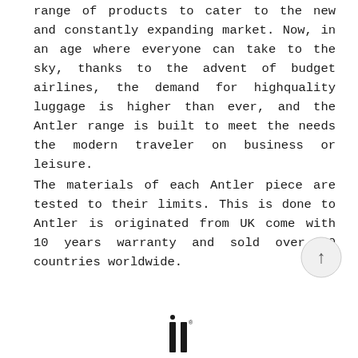range of products to cater to the new and constantly expanding market. Now, in an age where everyone can take to the sky, thanks to the advent of budget airlines, the demand for highquality luggage is higher than ever, and the Antler range is built to meet the needs the modern traveler on business or leisure.
The materials of each Antler piece are tested to their limits. This is done to Antler is originated from UK come with 10 years warranty and sold over 50 countries worldwide.
[Figure (other): Circular scroll-to-top button with upward arrow]
[Figure (logo): Antler brand logo mark — two vertical bars with a dot, partially visible at bottom of page]